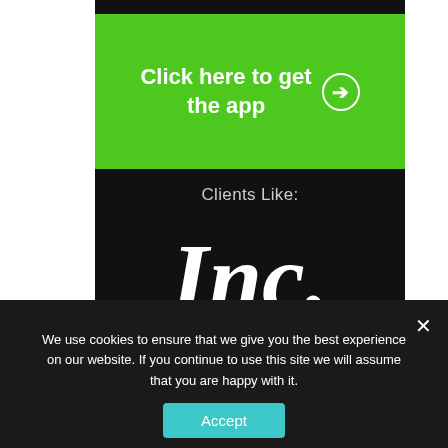[Figure (other): Green button with text 'Click here to get the app' and a right-arrow circle icon]
Clients Like:
[Figure (logo): Inc. magazine logo in white bold serif font on black background]
[Figure (logo): Michael Hyatt Your Virtual Mentor logo with stopwatch icon on black background]
[Figure (logo): Lewis Howes logo in white bold sans-serif on black background]
We use cookies to ensure that we give you the best experience on our website. If you continue to use this site we will assume that you are happy with it.
Accept